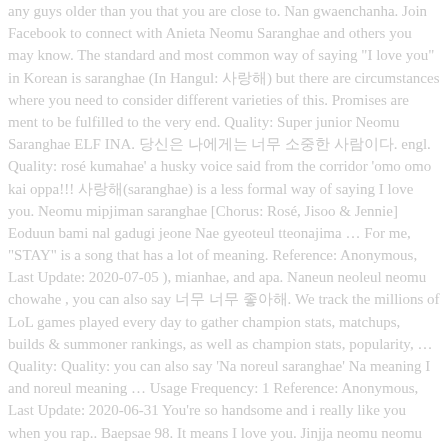any guys older than you that you are close to. Nan gwaenchanha. Join Facebook to connect with Anieta Neomu Saranghae and others you may know. The standard and most common way of saying "I love you" in Korean is saranghae (In Hangul: 사랑해) but there are circumstances where you need to consider different varieties of this. Promises are ment to be fulfilled to the very end. Quality: Super junior Neomu Saranghae ELF INA. 당신은 나에게는 너무 소중한 사람이다. engl. Quality: rosé kumahae' a husky voice said from the corridor 'omo omo kai oppa!!! 사랑해(saranghae) is a less formal way of saying I love you. Neomu mipjiman saranghae [Chorus: Rosé, Jisoo & Jennie] Eoduun bami nal gadugi jeone Nae gyeoteul tteonajima … For me, "STAY" is a song that has a lot of meaning. Reference: Anonymous, Last Update: 2020-07-05 ), mianhae, and apa. Naneun neoleul neomu chowahe , you can also say 너무 너무 좋아해. We track the millions of LoL games played every day to gather champion stats, matchups, builds & summoner rankings, as well as champion stats, popularity, … Quality: Quality: you can also say 'Na noreul saranghae' Na meaning I and noreul meaning … Usage Frequency: 1 Reference: Anonymous, Last Update: 2020-06-31 You're so handsome and i really like you when you rap.. Baepsae 98. It means I love you. Jinjja neomu neomu saranghae. Reference: Anonymous, Last Update: 2020-05-29 Ini adalah sebuah surat